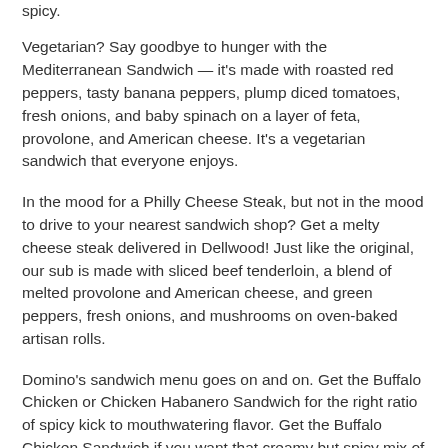spicy.
Vegetarian? Say goodbye to hunger with the Mediterranean Sandwich — it's made with roasted red peppers, tasty banana peppers, plump diced tomatoes, fresh onions, and baby spinach on a layer of feta, provolone, and American cheese. It's a vegetarian sandwich that everyone enjoys.
In the mood for a Philly Cheese Steak, but not in the mood to drive to your nearest sandwich shop? Get a melty cheese steak delivered in Dellwood! Just like the original, our sub is made with sliced beef tenderloin, a blend of melted provolone and American cheese, and green peppers, fresh onions, and mushrooms on oven-baked artisan rolls.
Domino's sandwich menu goes on and on. Get the Buffalo Chicken or Chicken Habanero Sandwich for the right ratio of spicy kick to mouthwatering flavor. Get the Buffalo Chicken Sandwich if you want that creamy but spicy mix of blue cheese and hot sauce on grilled chicken breast, topped with onions, cheddar, and provolone. For a fun twist, choose the Chicken Habanero Sandwich's spicy and sweet blend of pineapple, jalapenos, mango habanero sauce, and melted provolone and cheddar atop tender-grilled chicken sandwiched between two